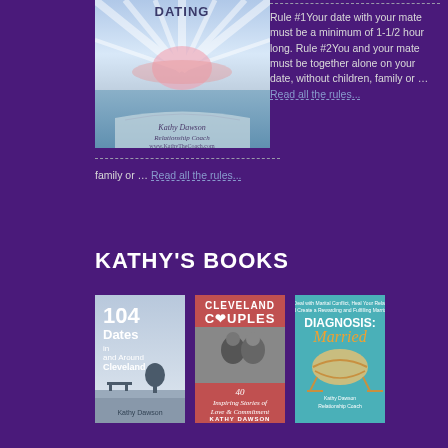[Figure (photo): Book cover for a dating guide by Kathy Dawson, Relationship Coach, with abstract light rays over water]
Rule #1Your date with your mate must be a minimum of 1-1/2 hour long. Rule #2You and your mate must be together alone on your date, without children, family or … Read all the rules...
KATHY'S BOOKS
[Figure (photo): Book cover: 104 Dates In and Around Cleveland by Kathy Dawson]
[Figure (photo): Book cover: Cleveland Couples - 40 Inspiring Stories of Love & Commitment by Kathy Dawson]
[Figure (photo): Book cover: Diagnosis: Married by Kathy Dawson]